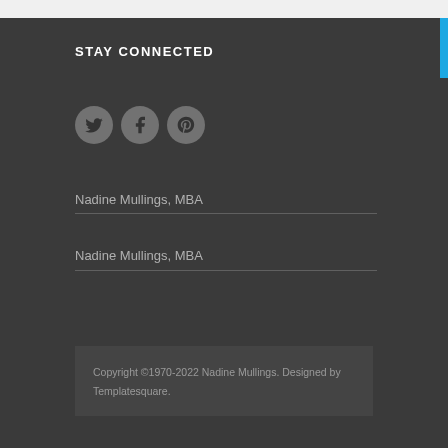STAY CONNECTED
[Figure (illustration): Three social media icons in grey circles: Twitter bird, Facebook f, and Pinterest p]
Nadine Mullings, MBA
Nadine Mullings, MBA
Copyright ©1970-2022 Nadine Mullings. Designed by Templatesquare.